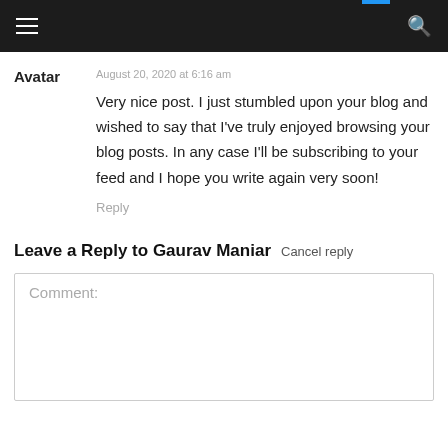Navigation bar with hamburger menu and search icon
Avatar
August 20, 2020 at 6:16 am
Very nice post. I just stumbled upon your blog and wished to say that I've truly enjoyed browsing your blog posts. In any case I'll be subscribing to your feed and I hope you write again very soon!
Reply
Leave a Reply to Gaurav Maniar  Cancel reply
Comment: